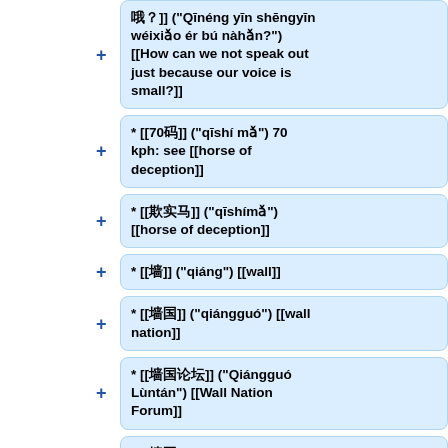哦？]] ("Qineng yin shengyin wéixiǎo ér bú nàhǎn?") [[How can we not speak out just because our voice is small?]]
* [[70码]] ("qīshí mǎ") 70 kph: see [[horse of deception]]
* [[欺实马]] ("qīshímǎ") [[horse of deception]]
* [[墙]] ("qiáng") [[wall]]
* [[墙国]] ("qiángguó") [[wall nation]]
* [[墙国论坛]] ("Qiángguó Lùntán") [[Wall Nation Forum]]